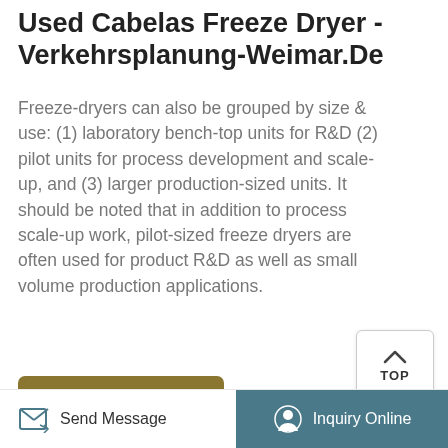Used Cabelas Freeze Dryer - Verkehrsplanung-Weimar.De
Freeze-dryers can also be grouped by size & use: (1) laboratory bench-top units for R&D (2) pilot units for process development and scale-up, and (3) larger production-sized units. It should be noted that in addition to process scale-up work, pilot-sized freeze dryers are often used for product R&D as well as small volume production applications.
[Figure (other): TOP button with upward arrow chevron in a rounded rectangle]
[Figure (other): Learn More button in olive/gold color]
[Figure (photo): Circular cropped photo of freeze dryer equipment, dark background with metallic shelving]
[Figure (other): Bottom bar with Send Message icon button on left and teal Inquiry Online button on right]